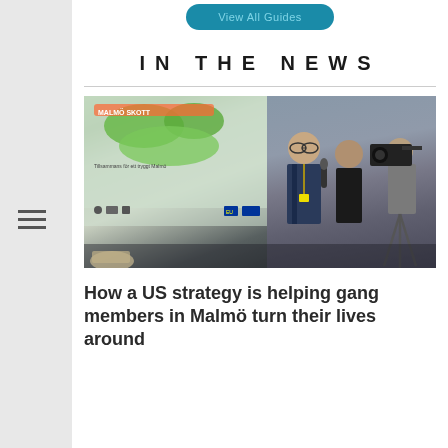View All Guides
IN THE NEWS
[Figure (photo): A police officer being interviewed by a journalist with a microphone, while a cameraman records. In the background there is a presentation screen showing a map with green regions and Swedish text.]
How a US strategy is helping gang members in Malmö turn their lives around